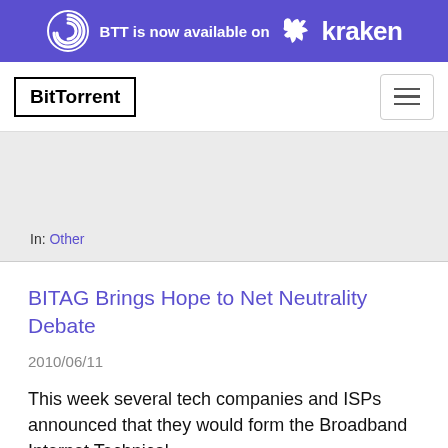[Figure (other): BTT BitTorrent banner advertisement: 'BTT is now available on Kraken' with BitTorrent swirl icon and Kraken logo on purple background]
[Figure (logo): BitTorrent logo in bordered box and hamburger menu button]
In: Other
BITAG Brings Hope to Net Neutrality Debate
2010/06/11
This week several tech companies and ISPs announced that they would form the Broadband Internet Technical